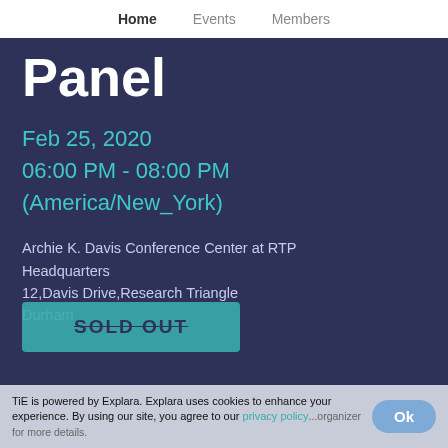Home   Events   Members
Panel
Feb 25, 2020
06:00 PM - 08:00 PM
(America/New_York)
Archie K. Davis Conference Center at RTP Headquarters
12,Davis Drive,Research Triangle
Durham
[Figure (other): SOLD OUT button (teal/cyan background with struck-through text)]
TiE is powered by Explara. Explara uses cookies to enhance your experience. By using our site, you agree to our privacy policy